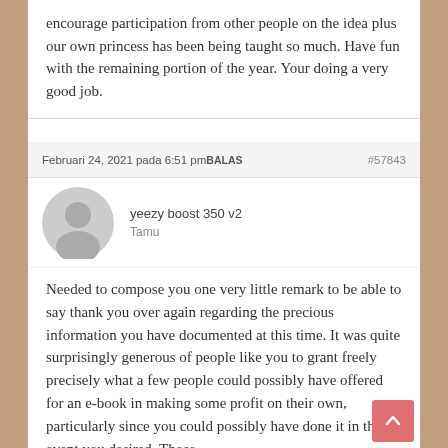encourage participation from other people on the idea plus our own princess has been being taught so much. Have fun with the remaining portion of the year. Your doing a very good job.
Februari 24, 2021 pada 6:51 pmBALAS  #57843
yeezy boost 350 v2
Tamu
Needed to compose you one very little remark to be able to say thank you over again regarding the precious information you have documented at this time. It was quite surprisingly generous of people like you to grant freely precisely what a few people could possibly have offered for an e-book in making some profit on their own, particularly since you could possibly have done it in the event you desired. Those